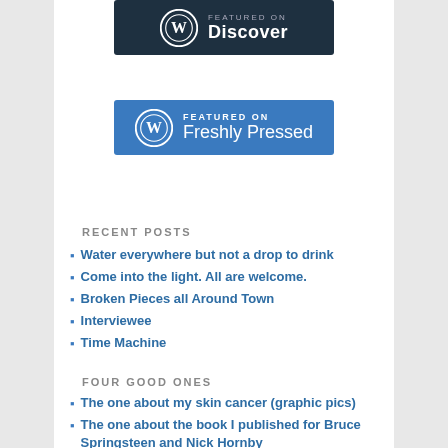[Figure (logo): WordPress Featured on Discover badge - dark navy background with WordPress logo and Discover text]
[Figure (logo): WordPress Featured on Freshly Pressed badge - blue background with WordPress logo, FEATURED ON text and Freshly Pressed text]
RECENT POSTS
Water everywhere but not a drop to drink
Come into the light. All are welcome.
Broken Pieces all Around Town
Interviewee
Time Machine
FOUR GOOD ONES
The one about my skin cancer (graphic pics)
The one about the book I published for Bruce Springsteen and Nick Hornby
The one where my daughter holds a mirror up
The one about professional wrestling and my dad